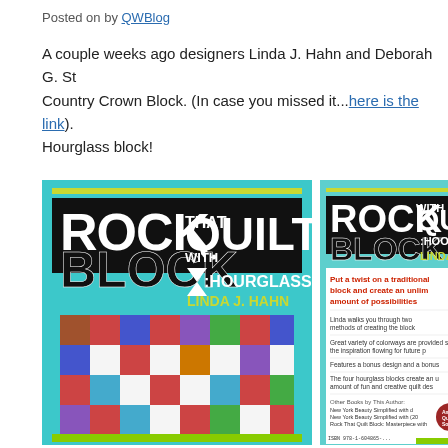Posted on by QWBlog
A couple weeks ago designers Linda J. Hahn and Deborah G. St... Country Crown Block. (In case you missed it...here is the link). Hourglass block!
[Figure (photo): Front cover of book 'Rock That Quilt Block: Hourglass' by Linda J. Hahn, published by American Quilter's Society. Teal/cyan background with bold black and white title text, hourglass icon, and a colorful quilt pattern featuring geometric hourglass blocks in red, blue, purple, and green.]
[Figure (photo): Back cover of the same book 'Rock That Quilt Block: Hourglass' by Linda J. Hahn, showing the back of the book with red promotional text, bullet points describing the book, American Quilter's Society logo, website URL, and barcode.]